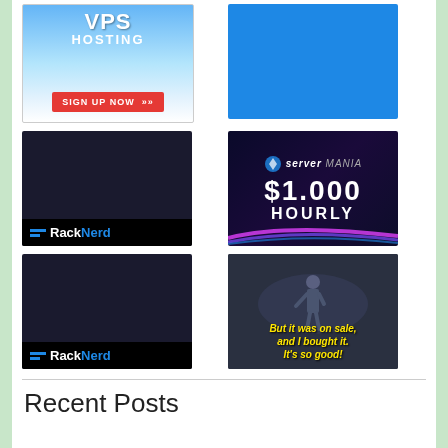[Figure (illustration): VPS Hosting advertisement with blue sky background, clouds, and red SIGN UP NOW button]
[Figure (illustration): Solid blue rectangle advertisement]
[Figure (illustration): RackNerd advertisement with dark server rack background and RackNerd logo at bottom]
[Figure (illustration): ServerMania advertisement showing $1.000 HOURLY pricing on dark background with colorful speed lines]
[Figure (illustration): RackNerd advertisement with dark server rack background and RackNerd logo at bottom]
[Figure (illustration): Meme image of person standing with text: But it was on sale, and I bought it. It's so good!]
Recent Posts